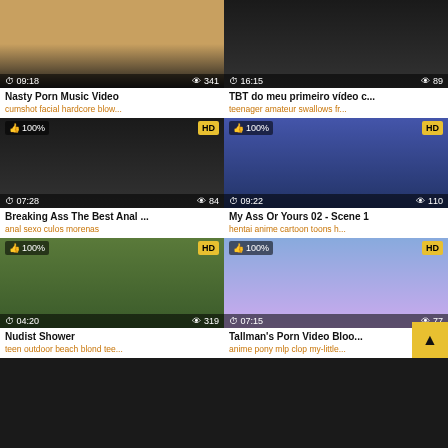[Figure (screenshot): Video thumbnail - Nasty Porn Music Video, duration 09:18, views 341]
Nasty Porn Music Video
cumshot facial hardcore blow...
[Figure (screenshot): Video thumbnail - TBT do meu primeiro vídeo c..., duration 16:15, views 89]
TBT do meu primeiro vídeo c...
teenager amateur swallows fr...
[Figure (screenshot): Video thumbnail - Breaking Ass The Best Anal ..., 100% HD, duration 07:28, views 84]
Breaking Ass The Best Anal ...
anal sexo culos morenas
[Figure (screenshot): Video thumbnail - My Ass Or Yours 02 - Scene 1, 100% HD, anime, duration 09:22, views 110]
My Ass Or Yours 02 - Scene 1
hentai anime cartoon toons h...
[Figure (screenshot): Video thumbnail - Nudist Shower, 100% HD, duration 04:20, views 319]
Nudist Shower
teen outdoor beach blond tee...
[Figure (screenshot): Video thumbnail - Tallman's Porn Video Bloo..., 100% HD, pony/anime, duration 07:15, views 77]
Tallman's Porn Video Bloo...
anime pony mlp clop my-little...